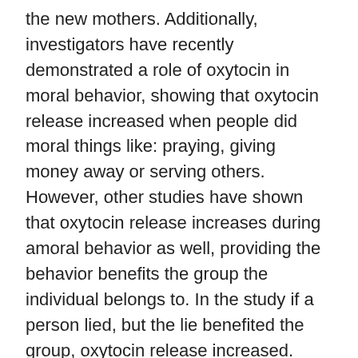the new mothers. Additionally, investigators have recently demonstrated a role of oxytocin in moral behavior, showing that oxytocin release increased when people did moral things like: praying, giving money away or serving others. However, other studies have shown that oxytocin release increases during amoral behavior as well, providing the behavior benefits the group the individual belongs to. In the study if a person lied, but the lie benefited the group, oxytocin release increased. Together these results may indicate that oxytocin is not so much a moral hormone, but that it is released during activities that strengthen social ties, be they positive or negative actions. It would appear that there is more to be learned about the precise role of